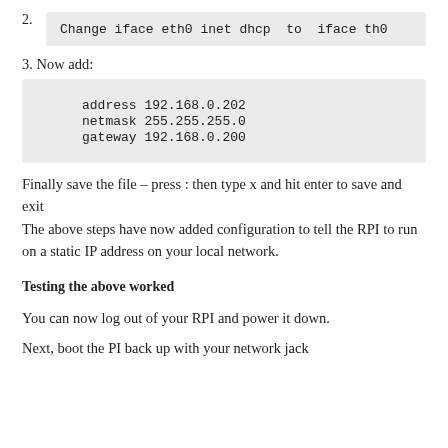2.  Change iface eth0 inet dhcp  to  iface th0
3. Now add:
address 192.168.0.202
netmask 255.255.255.0
gateway 192.168.0.200
Finally save the file – press : then type x and hit enter to save and exit
The above steps have now added configuration to tell the RPI to run on a static IP address on your local network.
Testing the above worked
You can now log out of your RPI and power it down.
Next, boot the PI back up with your network jack